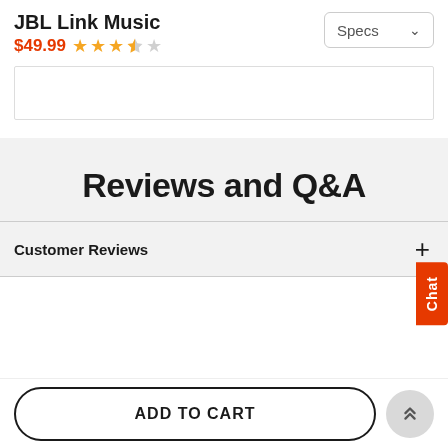JBL Link Music
$49.99 ★★★½☆
Reviews and Q&A
Customer Reviews
ADD TO CART